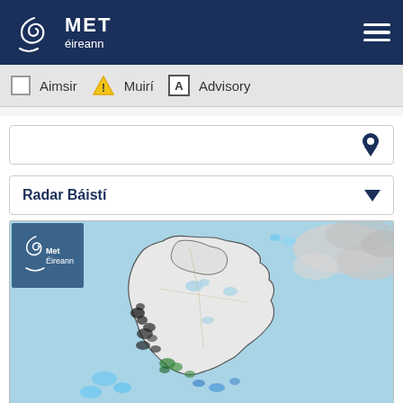MET éireann
Aimsir  Muirí  Advisory
[Figure (screenshot): Search input box with location pin icon on the right]
Radar Báistí
[Figure (map): Met Éireann rainfall radar map showing Ireland and surrounding seas with cloud and precipitation overlaid. Green/blue precipitation marks visible along west coast. Met Éireann spiral logo watermark in top-left corner of map.]